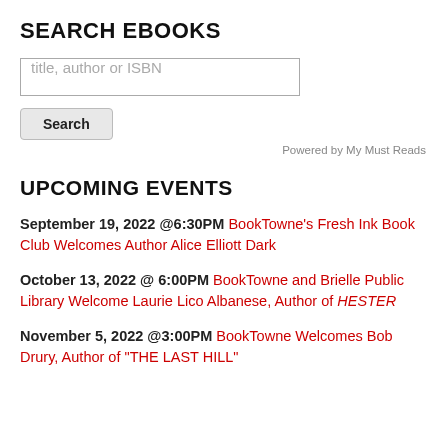SEARCH EBOOKS
title, author or ISBN
Search
Powered by My Must Reads
UPCOMING EVENTS
September 19, 2022 @6:30PM BookTowne's Fresh Ink Book Club Welcomes Author Alice Elliott Dark
October 13, 2022 @ 6:00PM BookTowne and Brielle Public Library Welcome Laurie Lico Albanese, Author of HESTER
November 5, 2022 @3:00PM BookTowne Welcomes Bob Drury, Author of "THE LAST HILL"